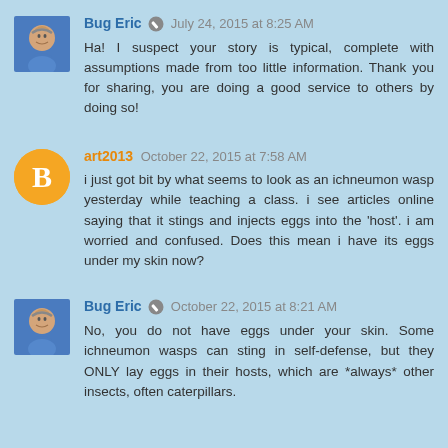[Figure (photo): Avatar photo of Bug Eric - man in blue shirt]
Bug Eric ✏ July 24, 2015 at 8:25 AM
Ha! I suspect your story is typical, complete with assumptions made from too little information. Thank you for sharing, you are doing a good service to others by doing so!
[Figure (logo): Blogger orange circle B avatar for art2013]
art2013 October 22, 2015 at 7:58 AM
i just got bit by what seems to look as an ichneumon wasp yesterday while teaching a class. i see articles online saying that it stings and injects eggs into the 'host'. i am worried and confused. Does this mean i have its eggs under my skin now?
[Figure (photo): Avatar photo of Bug Eric - man in blue shirt]
Bug Eric ✏ October 22, 2015 at 8:21 AM
No, you do not have eggs under your skin. Some ichneumon wasps can sting in self-defense, but they ONLY lay eggs in their hosts, which are *always* other insects, often caterpillars.